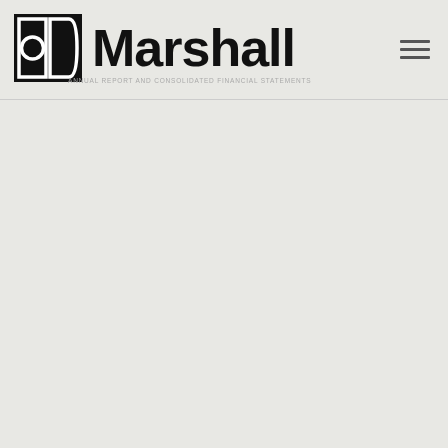Marshall
[Figure (logo): Marshall brand logo with geometric icon (two overlapping shapes: a square with circle inside on the left and a D-shape on the right) followed by the word Marshall in bold sans-serif, and a hamburger menu icon on the right]
ANNUAL REPORT AND CONSOLIDATED FINANCIAL STATEMENTS